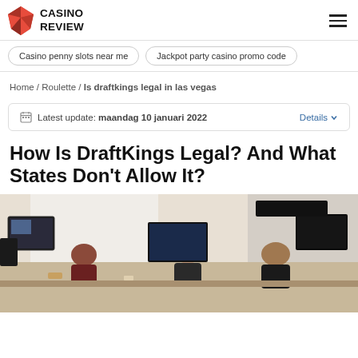CASINO REVIEW
Casino penny slots near me | Jackpot party casino promo code
Home / Roulette / Is draftkings legal in las vegas
Latest update: maandag 10 januari 2022  Details
How Is DraftKings Legal? And What States Don't Allow It?
[Figure (photo): People working at computers in an office environment, viewed from the side]